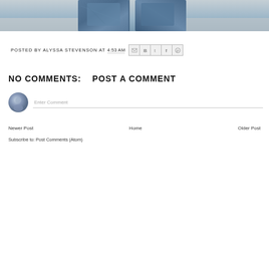[Figure (photo): Bottom portion of a photo showing denim jeans/clothing with a blurred background]
POSTED BY ALYSSA STEVENSON AT 4:53 AM
NO COMMENTS:
POST A COMMENT
Enter Comment
Newer Post  Home  Older Post
Subscribe to: Post Comments (Atom)